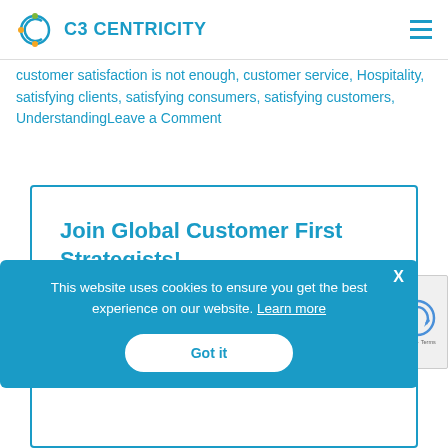C3 Centricity
customer satisfaction is not enough, customer service, Hospitality, satisfying clients, satisfying consumers, satisfying customers, UnderstandingLeave a Comment
Join Global Customer First Strategists!
This website uses cookies to ensure you get the best experience on our website. Learn more
Got it